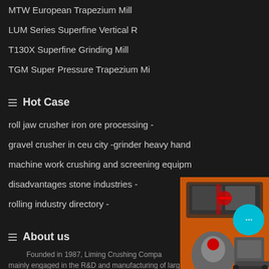MTW European Trapezium Mill
LUM Series Superfine Vertical R
T130X Superfine Grinding Mill
TGM Super Pressure Trapezium Mi
Hot Case
roll jaw crusher iron ore processing -
gravel crusher in ceu city -grinder heavy hand
machine work crushing and screening equipm
disadvantages stone industries -
rolling industry directory -
[Figure (photo): Industrial crushing and grinding machinery equipment on orange background, with chat bubble overlay and Enjoy 3% / Click to text]
Enquiry
limingjlmofen@sina.com
About us
Founded in 1987, Liming Crushing Compa
mainly engaged in the R&D and manufacturing of large-